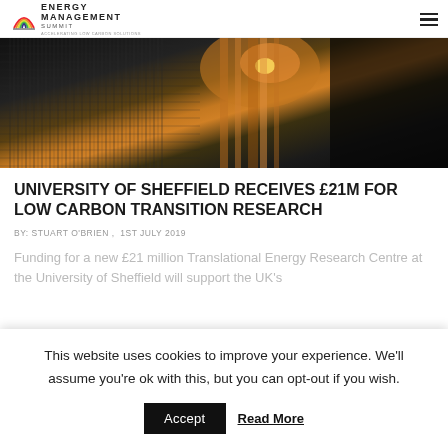ENERGY MANAGEMENT SUMMIT
[Figure (photo): Close-up macro photo of carbon fiber or metallic mesh material with orange/amber light reflections and highlights]
UNIVERSITY OF SHEFFIELD RECEIVES £21M FOR LOW CARBON TRANSITION RESEARCH
BY: STUART O'BRIEN ,  1ST JULY 2019
Funding for a new £21 million Translational Energy Research Centre at the University of Sheffield will support the UK's
This website uses cookies to improve your experience. We'll assume you're ok with this, but you can opt-out if you wish.
Accept   Read More